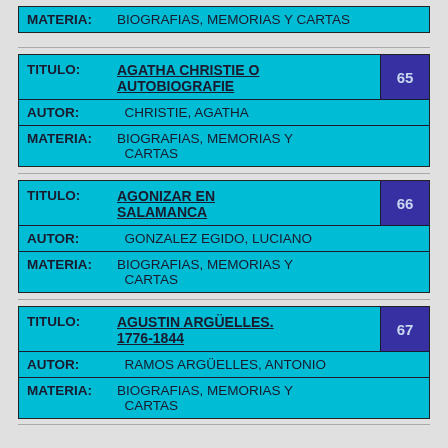| MATERIA: | BIOGRAFIAS, MEMORIAS Y CARTAS |
| TITULO: | AGATHA CHRISTIE O AUTOBIOGRAFIE | 65 |
| AUTOR: | CHRISTIE, AGATHA |  |
| MATERIA: | BIOGRAFIAS, MEMORIAS Y CARTAS |  |
| TITULO: | AGONIZAR EN SALAMANCA | 66 |
| AUTOR: | GONZALEZ EGIDO, LUCIANO |  |
| MATERIA: | BIOGRAFIAS, MEMORIAS Y CARTAS |  |
| TITULO: | AGUSTIN ARGÜELLES. 1776-1844 | 67 |
| AUTOR: | RAMOS ARGÜELLES, ANTONIO |  |
| MATERIA: | BIOGRAFIAS, MEMORIAS Y CARTAS |  |